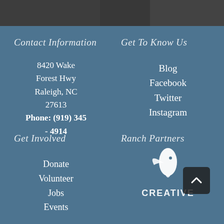[Figure (photo): Dark photo strip at the top showing people outdoors]
Contact Information
8420 Wake Forest Hwy
Raleigh, NC 27613
Phone: (919) 345 - 4914
Get To Know Us
Blog
Facebook
Twitter
Instagram
Get Involved
Donate
Volunteer
Jobs
Events
Ranch Partners
[Figure (logo): Creative logo — white bird/leaf shape above text CREATIVE on steel blue background]